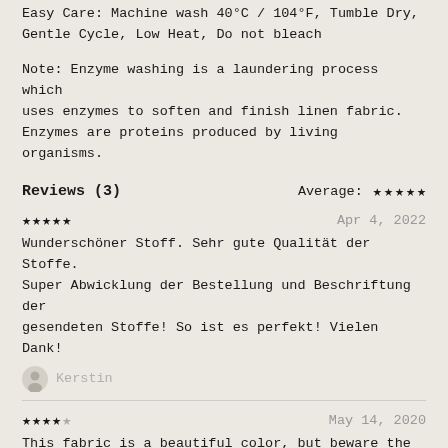Easy Care: Machine wash 40°C / 104°F, Tumble Dry, Gentle Cycle, Low Heat, Do not bleach
Note: Enzyme washing is a laundering process which uses enzymes to soften and finish linen fabric. Enzymes are proteins produced by living organisms.
Reviews (3)    Average: ★★★★★
★★★★★    Apr 4, 2022
Wunderschöner Stoff. Sehr gute Qualität der Stoffe. Super Abwicklung der Bestellung und Beschriftung der gesendeten Stoffe! So ist es perfekt! Vielen Dank!
Kerstin
★★★★☆    May 14, 2020
This fabric is a beautiful color, but beware the dye